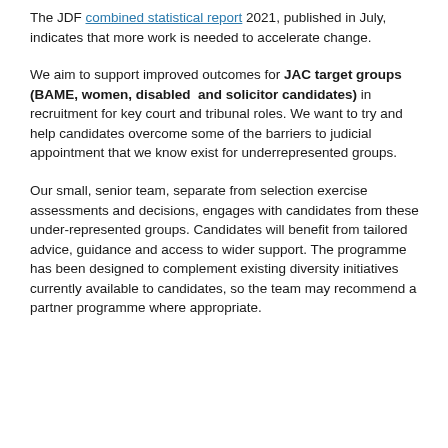The JDF combined statistical report 2021, published in July, indicates that more work is needed to accelerate change.
We aim to support improved outcomes for JAC target groups (BAME, women, disabled and solicitor candidates) in recruitment for key court and tribunal roles. We want to try and help candidates overcome some of the barriers to judicial appointment that we know exist for underrepresented groups.
Our small, senior team, separate from selection exercise assessments and decisions, engages with candidates from these under-represented groups. Candidates will benefit from tailored advice, guidance and access to wider support. The programme has been designed to complement existing diversity initiatives currently available to candidates, so the team may recommend a partner programme where appropriate.